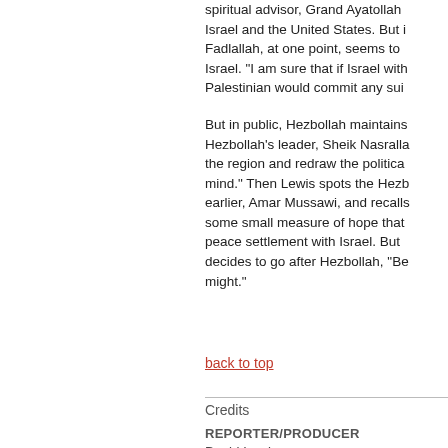spiritual advisor, Grand Ayatollah Israel and the United States. But Fadlallah, at one point, seems to Israel. "I am sure that if Israel with Palestinian would commit any sui
But in public, Hezbollah maintains Hezbollah's leader, Sheik Nasralla the region and redraw the politica mind." Then Lewis spots the Hezb earlier, Amar Mussawi, and recalls some small measure of hope that peace settlement with Israel. But decides to go after Hezbollah, "Be might."
back to top
Credits
REPORTER/PRODUCER
David Lewis
CAMERA
Paul Mailman
Thomas Nybo
EDITORS
Stephanie Mechura Challberg
Patrick Flynn
Mike Haley
David Ritsher